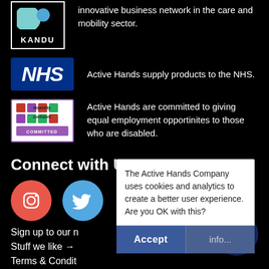[Figure (logo): KANDU logo - black background with teal/blue circular elements and KANDU text]
innovative business network in the care and mobility sector.
[Figure (logo): NHS logo - blue background with white italic NHS text]
Active Hands supply products to the NHS.
[Figure (logo): Disability Confident Committed logo]
Active Hands are committed to giving equal employment opportinites to those who are disabled.
Connect with Us
[Figure (illustration): Instagram icon - red/coral circle with white camera icon]
[Figure (illustration): Twitter icon - blue circle with white bird icon]
Sign up to our n
Stuff we like →
Terms & Condit
The Active Hands Company uses cookies and analytics to create a better user experience. Are you OK with this?
Accept
info...